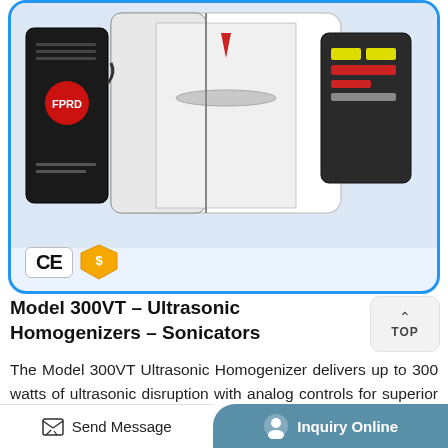[Figure (photo): Product photo of Model 300VT Ultrasonic Homogenizer / Sonicator device, shown with an open compartment revealing interior components. CE certification and shield badges shown at bottom left of the image.]
Model 300VT – Ultrasonic Homogenizers – Sonicators
The Model 300VT Ultrasonic Homogenizer delivers up to 300 watts of ultrasonic disruption with analog controls for superior sample processing. The Model 300VT offers all the advanced engineering features necessary to create a total system for ultrasonic disruption. The compact
Send Message
Inquiry Online